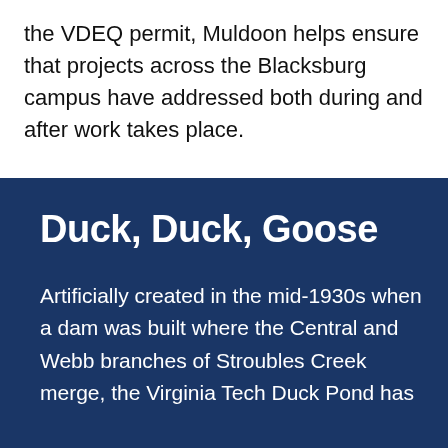the VDEQ permit, Muldoon helps ensure that projects across the Blacksburg campus have addressed both during and after work takes place.
Duck, Duck, Goose
Artificially created in the mid-1930s when a dam was built where the Central and Webb branches of Stroubles Creek merge, the Virginia Tech Duck Pond has